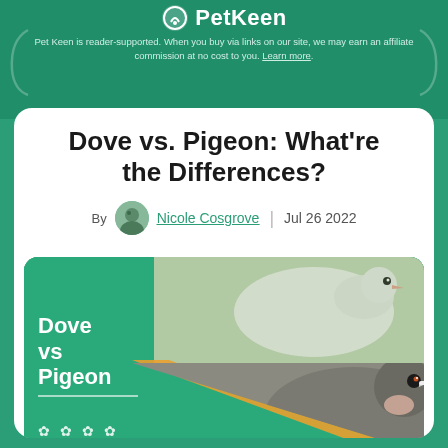PetKeen
Pet Keen is reader-supported. When you buy via links on our site, we may earn an affiliate commission at no cost to you. Learn more.
Dove vs. Pigeon: What're the Differences?
By Nicole Cosgrove | Jul 26 2022
[Figure (photo): Hero image showing a white dove and a grey pigeon side by side with 'Dove vs Pigeon' text overlay on a green background with paw icons]